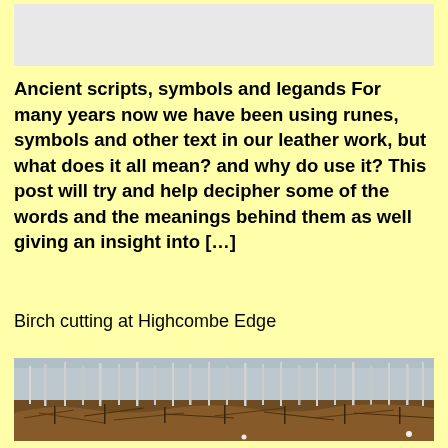[Figure (photo): Top grey/white placeholder image box]
Ancient scripts, symbols and legands For many years now we have been using runes, symbols and other text in our leather work, but what does it all mean? and why do use it? This post will try and help decipher some of the words and the meanings behind them as well giving an insight into […]
Birch cutting at Highcombe Edge
[Figure (photo): Photograph of a birch woodland with bare thin trees and cut branches/brush on the ground, foggy background]